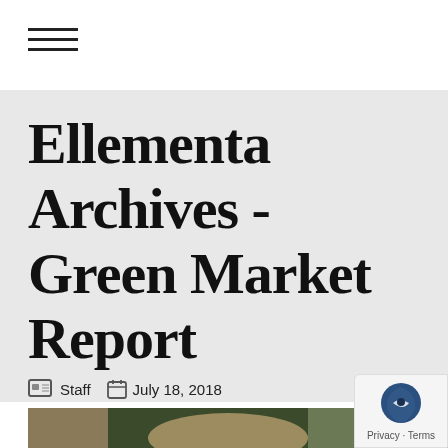[Figure (other): Hamburger menu icon with three horizontal lines]
Ellementa Archives - Green Market Report
Staff  July 18, 2018
[Figure (photo): Partial photo of a person, bottom of page]